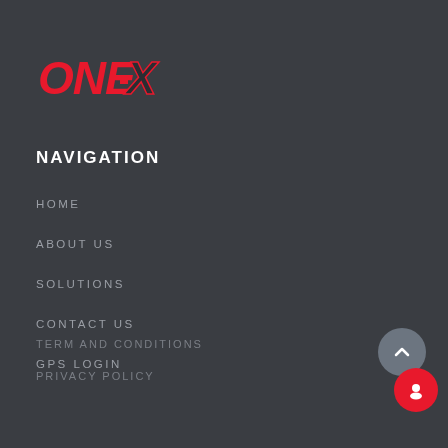[Figure (logo): ONE-X logo in red italic bold text with a stylized X]
NAVIGATION
HOME
ABOUT US
SOLUTIONS
CONTACT US
GPS LOGIN
TERM AND CONDITIONS
PRIVACY POLICY